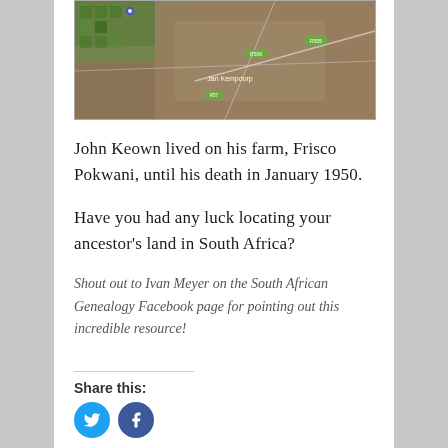[Figure (map): Satellite/aerial map view showing Jan Kempdorp area in South Africa with road labels including R505, R506, and R57]
John Keown lived on his farm, Frisco Pokwani, until his death in January 1950.
Have you had any luck locating your ancestor's land in South Africa?
Shout out to Ivan Meyer on the South African Genealogy Facebook page for pointing out this incredible resource!
Share this: